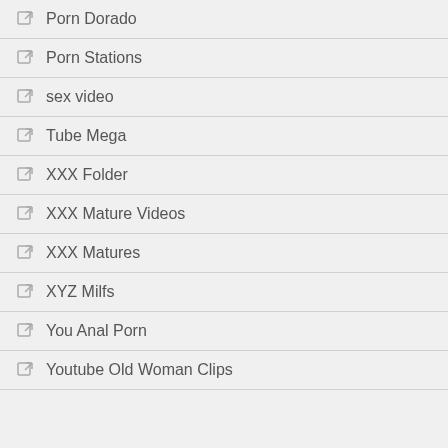Porn Dorado
Porn Stations
sex video
Tube Mega
XXX Folder
XXX Mature Videos
XXX Matures
XYZ Milfs
You Anal Porn
Youtube Old Woman Clips